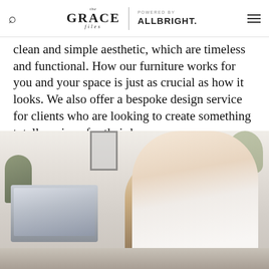the GRACE files | POWERED BY ALLBRIGHT.
clean and simple aesthetic, which are timeless and functional. How our furniture works for you and your space is just as crucial as how it looks. We also offer a bespoke design service for clients who are looking to create something totally unique for their home.
[Figure (photo): A smiling blonde woman in a white shirt sits at a desk with a laptop open, holding a young toddler girl in a leopard-print outfit on her lap. There are plants in the background and the setting appears to be a minimal, bright home office.]